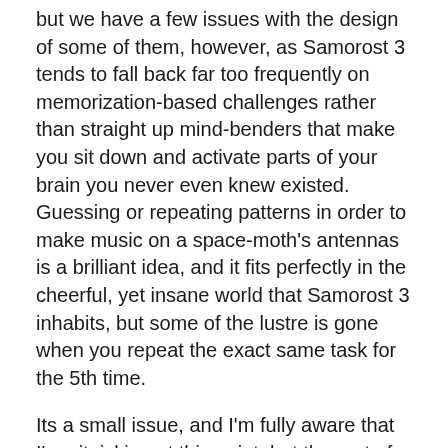but we have a few issues with the design of some of them, however, as Samorost 3 tends to fall back far too frequently on memorization-based challenges rather than straight up mind-benders that make you sit down and activate parts of your brain you never even knew existed. Guessing or repeating patterns in order to make music on a space-moth's antennas is a brilliant idea, and it fits perfectly in the cheerful, yet insane world that Samorost 3 inhabits, but some of the lustre is gone when you repeat the exact same task for the 5th time.
Its a small issue, and I'm fully aware that I'm nitpicking at this point, but the rest of Samorost 3 is filled with unique and creative puzzles that take full advantage of the fact that the world operates on a very loose definition of reality, so seeing a repeat of the same easy puzzle, over and over again, is an unfortunate waste of potential compared to what could've been. And what it could've been is a puzzle that revolves around stealing hot water from a monkey bath house located at the bottom side of a meteor, or one that requires you to help a trio of lizards sign opera in a perfect